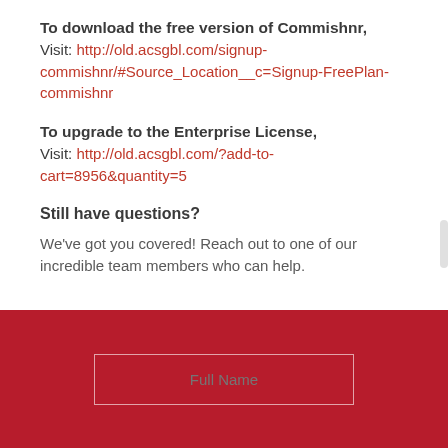To download the free version of Commishnr, Visit: http://old.acsgbl.com/signup-commishnr/#Source_Location__c=Signup-FreePlan-commishnr
To upgrade to the Enterprise License, Visit: http://old.acsgbl.com/?add-to-cart=8956&quantity=5
Still have questions?
We've got you covered! Reach out to one of our incredible team members who can help.
Full Name